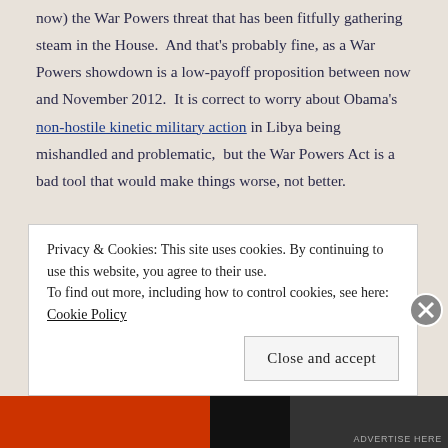now) the War Powers threat that has been fitfully gathering steam in the House.  And that's probably fine, as a War Powers showdown is a low-payoff proposition between now and November 2012.  It is correct to worry about Obama's non-hostile kinetic military action in Libya being mishandled and problematic,  but the War Powers Act is a bad tool that would make things worse, not better.
In its own way, the War Powers Act is part of the same problem posed
Privacy & Cookies: This site uses cookies. By continuing to use this website, you agree to their use.
To find out more, including how to control cookies, see here: Cookie Policy
Close and accept